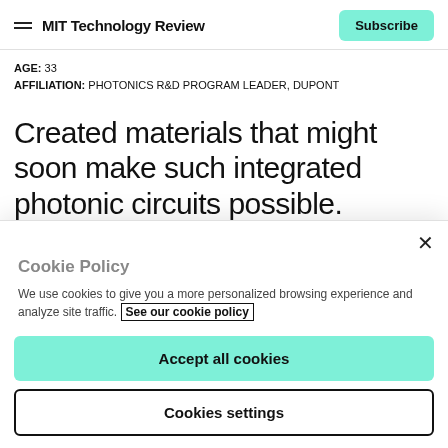MIT Technology Review | Subscribe
AGE: 33
AFFILIATION: PHOTONICS R&D PROGRAM LEADER, DUPONT
Created materials that might soon make such integrated photonic circuits possible.
The Internet could be a faster, cheaper, if...
Cookie Policy
We use cookies to give you a more personalized browsing experience and analyze site traffic. See our cookie policy
Accept all cookies
Cookies settings